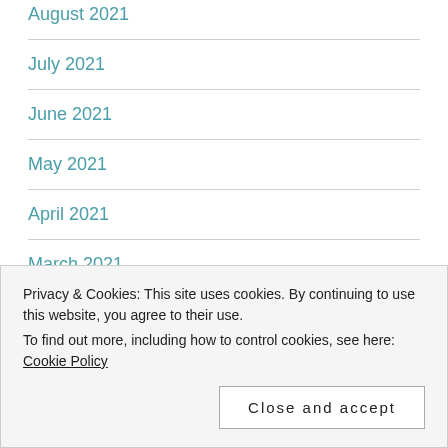August 2021
July 2021
June 2021
May 2021
April 2021
March 2021
February 2021
January 2021
Privacy & Cookies: This site uses cookies. By continuing to use this website, you agree to their use.
To find out more, including how to control cookies, see here: Cookie Policy
Close and accept